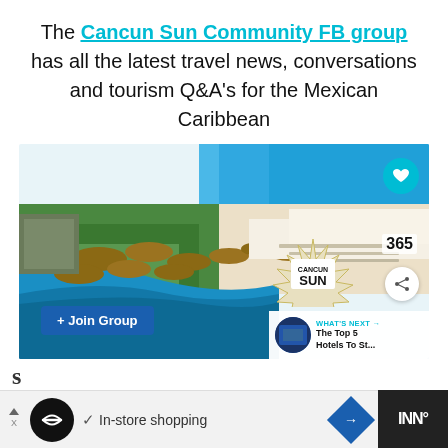The Cancun Sun Community FB group has all the latest travel news, conversations and tourism Q&A's for the Mexican Caribbean
[Figure (photo): Aerial view of a Cancun resort beach with thatched palapas, swimming pools, white sandy beach and turquoise Caribbean sea. Overlay elements include a Join Group button, heart button, Cancun Sun 365 badge, share button, and What's Next thumbnail showing The Top 5 Hotels To St...]
s
[Figure (infographic): Advertisement bar at bottom with circular icon, In-store shopping text with checkmark, blue diamond navigation icon, and dark panel with TV/INN logo]